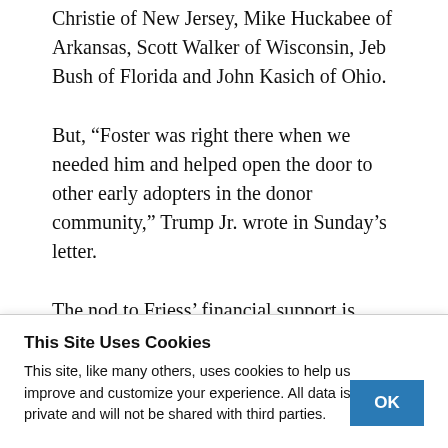Christie of New Jersey, Mike Huckabee of Arkansas, Scott Walker of Wisconsin, Jeb Bush of Florida and John Kasich of Ohio.
But, “Foster was right there when we needed him and helped open the door to other early adopters in the donor community,” Trump Jr. wrote in Sunday’s letter.
The nod to Friess’ financial support is echoed in
This Site Uses Cookies
This site, like many others, uses cookies to help us improve and customize your experience. All data is private and will not be shared with third parties.